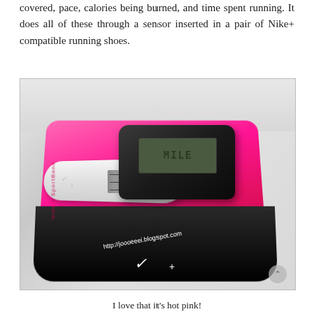covered, pace, calories being burned, and time spent running. It does all of these through a sensor inserted in a pair of Nike+ compatible running shoes.
[Figure (photo): Nike+ SportBand product in hot pink and black packaging, showing the white wristband with USB connector, black sensor module with LCD display showing 'MILE', and black base box with Nike+ logo and URL http://joooeeei.blogspot.com]
I love that it's hot pink!